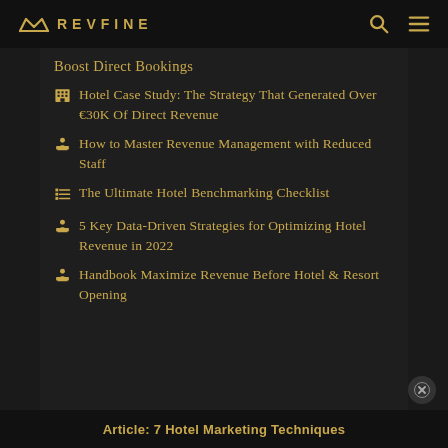REVFINE
Boost Direct Bookings
Hotel Case Study: The Strategy That Generated Over €30K Of Direct Revenue
How to Master Revenue Management with Reduced Staff
The Ultimate Hotel Benchmarking Checklist
5 Key Data-Driven Strategies for Optimizing Hotel Revenue in 2022
Handbook Maximize Revenue Before Hotel & Resort Opening
Article: 7 Hotel Marketing Techniques